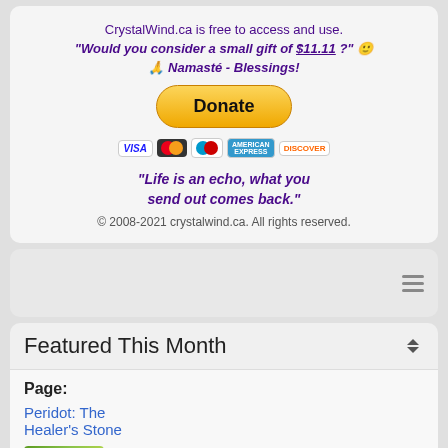CrystalWind.ca is free to access and use. "Would you consider a small gift of $11.11 ?" 🙂 🙏 Namasté - Blessings!
[Figure (other): PayPal Donate button with payment icons (VISA, Mastercard, Maestro, Amex, Discover)]
"Life is an echo, what you send out comes back."
© 2008-2021 crystalwind.ca. All rights reserved.
[Figure (other): Hamburger menu icon (three horizontal lines)]
Featured This Month
Page:
Peridot: The Healer's Stone
[Figure (photo): Green crystal/stone image (peridot)]